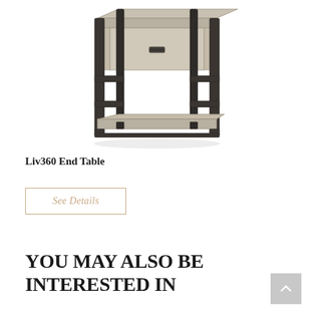[Figure (photo): Product photo of a Liv360 End Table — a square end table with a light gray wood top and lower shelf, dark charcoal metal frame with two horizontal rails on each side, and a single drawer with a dark rectangular pull hardware.]
Liv360 End Table
See Details
YOU MAY ALSO BE INTERESTED IN